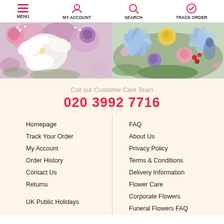MENU | MY ACCOUNT | SEARCH | TRACK ORDER
[Figure (photo): Two floral arrangement photos side by side: left shows white orchids and pink/purple roses, right shows colorful mixed flowers with blue clematis, yellow and pink roses, purple lisianthus]
Call our Customer Care Team
020 3992 7716
Homepage
Track Your Order
My Account
Order History
Contact Us
Returns
UK Public Holidays
FAQ
About Us
Privacy Policy
Terms & Conditions
Delivery Information
Flower Care
Corporate Flowers
Funeral Flowers FAQ